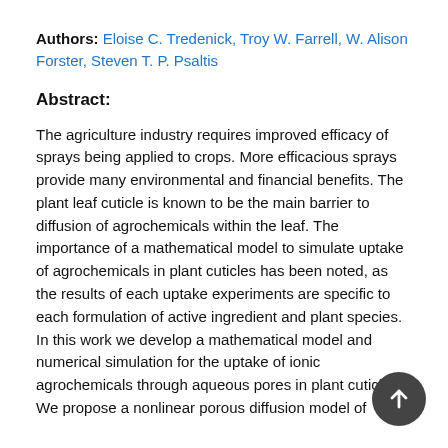Authors: Eloise C. Tredenick, Troy W. Farrell, W. Alison Forster, Steven T. P. Psaltis
Abstract:
The agriculture industry requires improved efficacy of sprays being applied to crops. More efficacious sprays provide many environmental and financial benefits. The plant leaf cuticle is known to be the main barrier to diffusion of agrochemicals within the leaf. The importance of a mathematical model to simulate uptake of agrochemicals in plant cuticles has been noted, as the results of each uptake experiments are specific to each formulation of active ingredient and plant species. In this work we develop a mathematical model and numerical simulation for the uptake of ionic agrochemicals through aqueous pores in plant cuticles. We propose a nonlinear porous diffusion model of